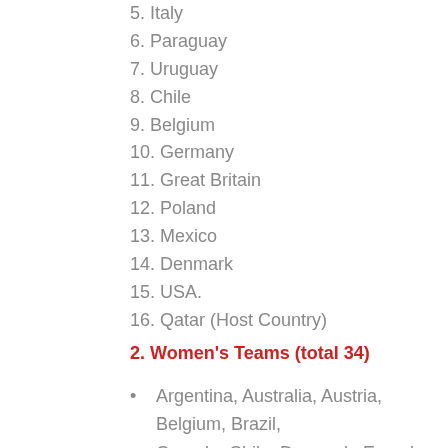5. Italy
6. Paraguay
7. Uruguay
8. Chile
9. Belgium
10. Germany
11. Great Britain
12. Poland
13. Mexico
14. Denmark
15. USA.
16. Qatar (Host Country)
2. Women's Teams (total 34)
Argentina, Australia, Austria, Belgium, Brazil, Canada, Chile, Denmark, Ecuador, Egypt, Estonia,